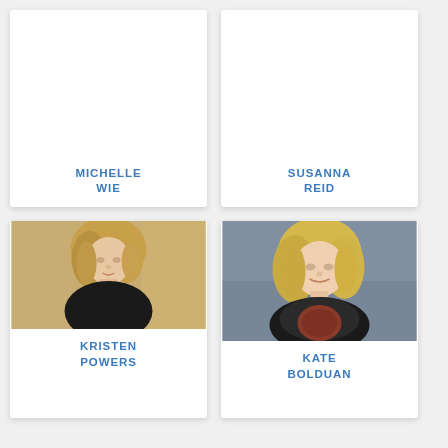[Figure (photo): Card for Michelle Wie - no photo, white background with name text]
MICHELLE WIE
[Figure (photo): Card for Susanna Reid - no photo, white background with name text]
SUSANNA REID
[Figure (photo): Card for Kristen Powers - portrait photo of blonde woman in black top]
KRISTEN POWERS
[Figure (photo): Card for Kate Bolduan - portrait photo of blonde woman in red/black top]
KATE BOLDUAN